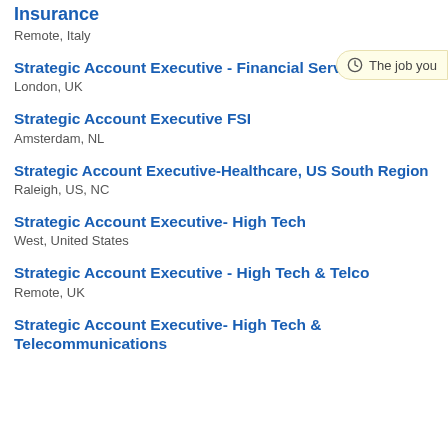Insurance
Remote, Italy
Strategic Account Executive - Financial Services
London, UK
Strategic Account Executive FSI
Amsterdam, NL
Strategic Account Executive-Healthcare, US South Region
Raleigh, US, NC
Strategic Account Executive- High Tech
West, United States
Strategic Account Executive - High Tech & Telco
Remote, UK
Strategic Account Executive- High Tech & Telecommunications